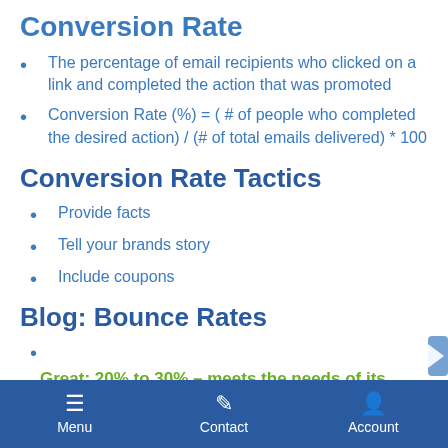Conversion Rate
The percentage of email recipients who clicked on a link and completed the action that was promoted
Conversion Rate (%) = ( # of people who completed the desired action) / (# of total emails delivered) * 100
Conversion Rate Tactics
Provide facts
Tell your brands story
Include coupons
Blog: Bounce Rates
Great: 20% to 30% – meets the needs of its users and engages the audience
Mediocre: 30% to 50% – provides good info but not
Menu  Contact  Account